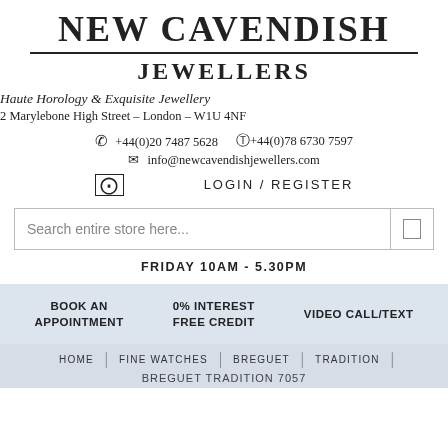NEW CAVENDISH JEWELLERS
Haute Horology & Exquisite Jewellery
2 Marylebone High Street – London – W1U 4NF
+44(0)20 7487 5628  +44(0)78 6730 7597
info@newcavendishjewellers.com
LOGIN / REGISTER
Search entire store here...
FRIDAY 10AM - 5.30PM
BOOK AN APPOINTMENT
0% INTEREST FREE CREDIT
VIDEO CALL/TEXT
HOME  FINE WATCHES  BREGUET  TRADITION
BREGUET TRADITION 7057